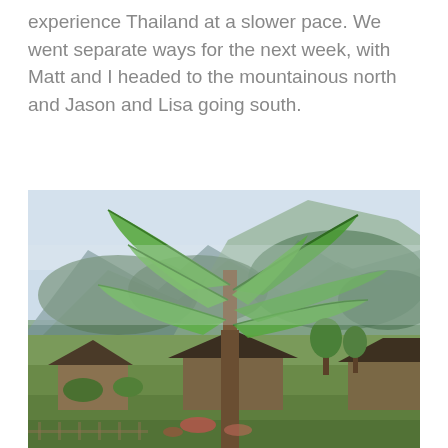experience Thailand at a slower pace. We went separate ways for the next week, with Matt and I headed to the mountainous north and Jason and Lisa going south.
[Figure (photo): Outdoor landscape photograph showing a banana tree in the foreground with large green leaves, small rural buildings with dark roofs in the middle ground, green trees and lush vegetation, and steep forested mountains in the background under a hazy sky.]